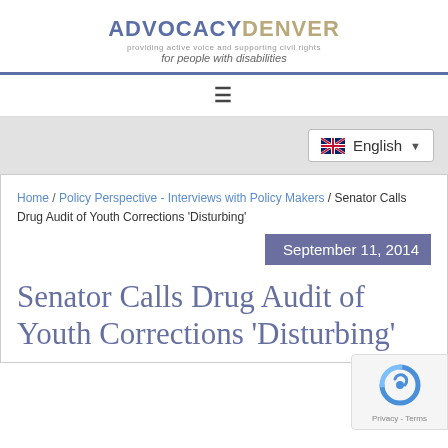ADVOCACY DENVER — providing active voice and supporting civil rights for people with disabilities
[Figure (other): Hamburger menu icon (three horizontal lines)]
[Figure (other): Language selector dropdown showing UK flag and 'English' with a dropdown arrow]
Home / Policy Perspective - Interviews with Policy Makers / Senator Calls Drug Audit of Youth Corrections 'Disturbing'
September 11, 2014
Senator Calls Drug Audit of Youth Corrections 'Disturbing'